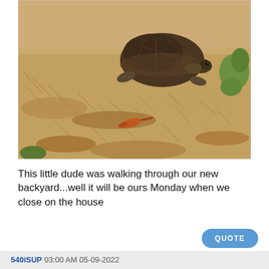[Figure (photo): A tortoise walking on dry brownish-yellow grass/straw in a backyard setting. The tortoise has a dark brown domed shell. There appears to be a small orange lizard or leaf near the bottom center.]
This little dude was walking through our new backyard...well it will be ours Monday when we close on the house
QUOTE
540iSUP 03:00 AM 05-09-2022
I think this was either Santa Cruz or Monterey Bay,